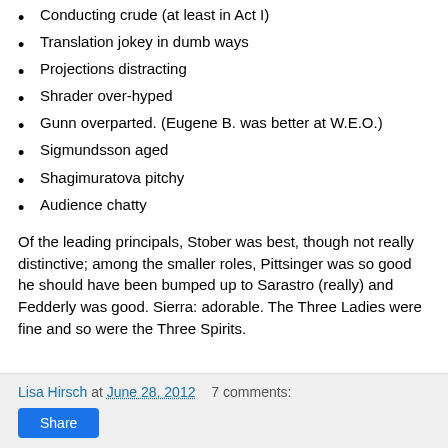Conducting crude (at least in Act I)
Translation jokey in dumb ways
Projections distracting
Shrader over-hyped
Gunn overparted. (Eugene B. was better at W.E.O.)
Sigmundsson aged
Shagimuratova pitchy
Audience chatty
Of the leading principals, Stober was best, though not really distinctive; among the smaller roles, Pittsinger was so good he should have been bumped up to Sarastro (really) and Fedderly was good. Sierra: adorable. The Three Ladies were fine and so were the Three Spirits.
Lisa Hirsch at June 28, 2012  7 comments:  Share